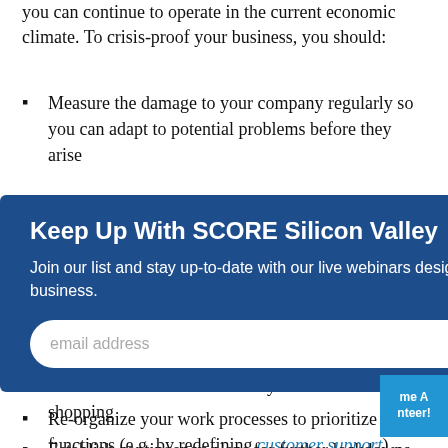you can continue to operate in the current economic climate. To crisis-proof your business, you should:
Measure the damage to your company regularly so you can adapt to potential problems before they arise
[partially visible] ...ons
[partially visible] ...yees
[Figure (screenshot): Modal popup with blue background titled 'Keep Up With SCORE Silicon Valley'. Contains body text 'Join our list and stay up-to-date with our live webinars designed to help you start and grow a successful business.' and an email input field with SUBMIT button. Has a close (×) button in top right.]
customers to ensure their safety when shopping
Re-organize your work processes to prioritize key functions (e.g. by redefining customer support)
Establish contingency plans for further lockdowns